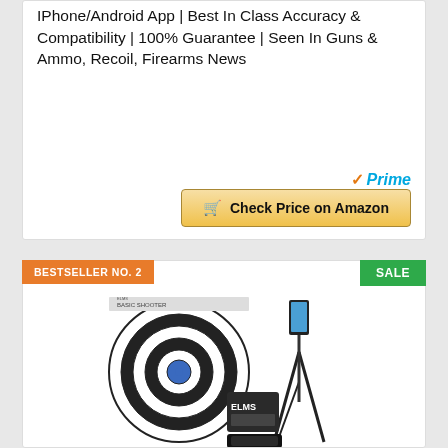IPhone/Android App | Best In Class Accuracy & Compatibility | 100% Guarantee | Seen In Guns & Ammo, Recoil, Firearms News
[Figure (other): Amazon Prime logo with check mark and 'Prime' text in blue italic]
[Figure (other): Yellow 'Check Price on Amazon' button with shopping cart icon]
BESTSELLER NO. 2
SALE
[Figure (photo): ELMS Basic Shooter product kit with shooting target, tripod, electronic device and case]